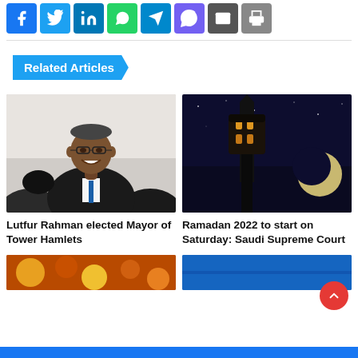[Figure (other): Social share buttons: Facebook, Twitter, LinkedIn, WhatsApp, Telegram, Viber, Email, Print]
Related Articles
[Figure (photo): Photo of Lutfur Rahman smiling, wearing glasses and a suit]
Lutfur Rahman elected Mayor of Tower Hamlets
[Figure (photo): Night photo of a mosque lantern with a crescent moon in the background]
Ramadan 2022 to start on Saturday: Saudi Supreme Court
[Figure (photo): Partial image of food (colorful, warm tones) at the bottom left]
[Figure (photo): Partial image with blue color at the bottom right]